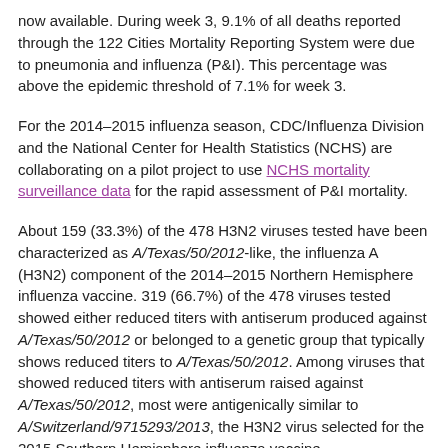now available. During week 3, 9.1% of all deaths reported through the 122 Cities Mortality Reporting System were due to pneumonia and influenza (P&I). This percentage was above the epidemic threshold of 7.1% for week 3.
For the 2014–2015 influenza season, CDC/Influenza Division and the National Center for Health Statistics (NCHS) are collaborating on a pilot project to use NCHS mortality surveillance data for the rapid assessment of P&I mortality.
About 159 (33.3%) of the 478 H3N2 viruses tested have been characterized as A/Texas/50/2012-like, the influenza A (H3N2) component of the 2014–2015 Northern Hemisphere influenza vaccine. 319 (66.7%) of the 478 viruses tested showed either reduced titers with antiserum produced against A/Texas/50/2012 or belonged to a genetic group that typically shows reduced titers to A/Texas/50/2012. Among viruses that showed reduced titers with antiserum raised against A/Texas/50/2012, most were antigenically similar to A/Switzerland/9715293/2013, the H3N2 virus selected for the 2015 Southern Hemisphere influenza vaccine. A/Switzerland/9715293/2013 is related to, but antigenically